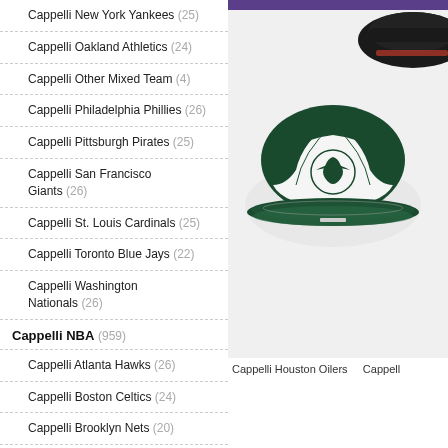Cappelli New York Yankees (25)
Cappelli Oakland Athletics (24)
Cappelli Other Mixed Team (4)
Cappelli Philadelphia Phillies (26)
Cappelli Pittsburgh Pirates (25)
Cappelli San Francisco Giants (26)
Cappelli St. Louis Cardinals (25)
Cappelli Toronto Blue Jays (22)
Cappelli Washington Nationals (26)
Cappelli NBA (959)
Cappelli Atlanta Hawks (26)
Cappelli Boston Celtics (24)
Cappelli Brooklyn Nets (20)
Cappelli Chicago Bulls (23)
Cappelli Classic Bulls B (23)
[Figure (photo): Two baseball/football caps displayed, one dark green and white Eagles cap in foreground, one partially visible dark cap in background top right corner, on light gray background.]
Cappelli Houston Oilers   Cappell